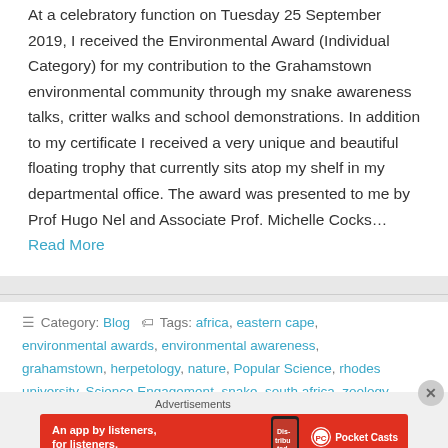At a celebratory function on Tuesday 25 September 2019, I received the Environmental Award (Individual Category) for my contribution to the Grahamstown environmental community through my snake awareness talks, critter walks and school demonstrations. In addition to my certificate I received a very unique and beautiful floating trophy that currently sits atop my shelf in my departmental office. The award was presented to me by Prof Hugo Nel and Associate Prof. Michelle Cocks… Read More
Category: Blog   Tags: africa, eastern cape, environmental awards, environmental awareness, grahamstown, herpetology, nature, Popular Science, rhodes university, Science Engagement, snake, south africa, zoology
[Figure (other): Pocket Casts advertisement banner: red background with text 'An app by listeners, for listeners.' and a phone image showing 'Distributed' on screen, with the Pocket Casts logo and wordmark on the right.]